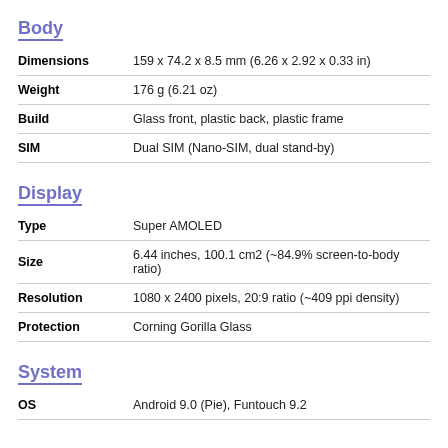Body
| Attribute | Value |
| --- | --- |
| Dimensions | 159 x 74.2 x 8.5 mm (6.26 x 2.92 x 0.33 in) |
| Weight | 176 g (6.21 oz) |
| Build | Glass front, plastic back, plastic frame |
| SIM | Dual SIM (Nano-SIM, dual stand-by) |
Display
| Attribute | Value |
| --- | --- |
| Type | Super AMOLED |
| Size | 6.44 inches, 100.1 cm2 (~84.9% screen-to-body ratio) |
| Resolution | 1080 x 2400 pixels, 20:9 ratio (~409 ppi density) |
| Protection | Corning Gorilla Glass |
System
| Attribute | Value |
| --- | --- |
| OS | Android 9.0 (Pie), Funtouch 9.2 |